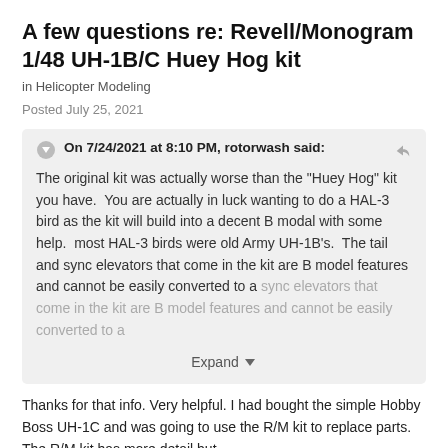A few questions re: Revell/Monogram 1/48 UH-1B/C Huey Hog kit
in Helicopter Modeling
Posted July 25, 2021
On 7/24/2021 at 8:10 PM, rotorwash said:
The original kit was actually worse than the "Huey Hog" kit you have.  You are actually in luck wanting to do a HAL-3 bird as the kit will build into a decent B modal with some help.  most HAL-3 birds were old Army UH-1B's.  The tail and sync elevators that come in the kit are B model features and cannot be easily converted to a
Expand
Thanks for that info. Very helpful. I had bought the simple Hobby Boss UH-1C and was going to use the R/M kit to replace parts. The R/M kit has more detail but